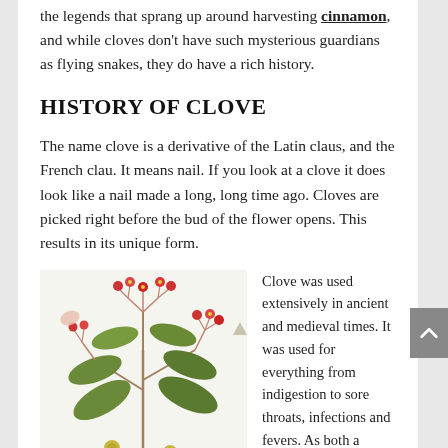the legends that sprang up around harvesting cinnamon, and while cloves don't have such mysterious guardians as flying snakes, they do have a rich history.
HISTORY OF CLOVE
The name clove is a derivative of the Latin claus, and the French clau. It means nail. If you look at a clove it does look like a nail made a long, long time ago. Cloves are picked right before the bud of the flower opens. This results in its unique form.
[Figure (illustration): Botanical illustration of a clove plant showing red flower buds, green leaves, and small round seeds/buds at the base of the plant.]
Clove was used extensively in ancient and medieval times. It was used for everything from indigestion to sore throats, infections and fevers. As both a medicinal and culinary plant, clove was a valuable